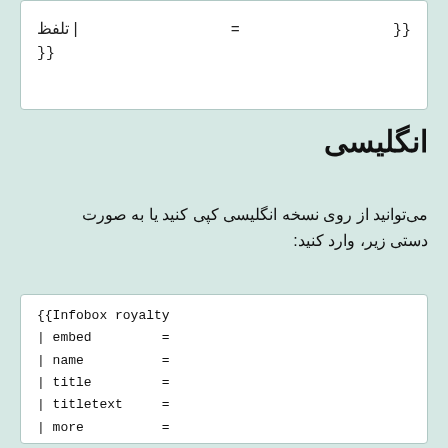| تلفظ = {{
انگلیسی
می‌توانید از روی نسخه انگلیسی کپی کنید یا به صورت دستی زیر، وارد کنید:
{{Infobox royalty
 | embed         =
 | name          =
 | title         =
 | titletext     =
 | more          =
 | image         =
 | image_size    =
 | alt           =